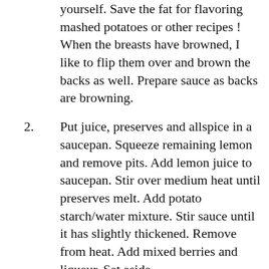yourself. Save the fat for flavoring mashed potatoes or other recipes ! When the breasts have browned, I like to flip them over and brown the backs as well. Prepare sauce as backs are browning.
2. Put juice, preserves and allspice in a saucepan. Squeeze remaining lemon and remove pits. Add lemon juice to saucepan. Stir over medium heat until preserves melt. Add potato starch/water mixture. Stir sauce until it has slightly thickened. Remove from heat. Add mixed berries and liqueur. Set aside.
3. When ducks have finished roasting, remove them from the oven and allow to cool. Cut them into quarters with either a sharp knife or poultry shears. Arrange quarters in an oven to